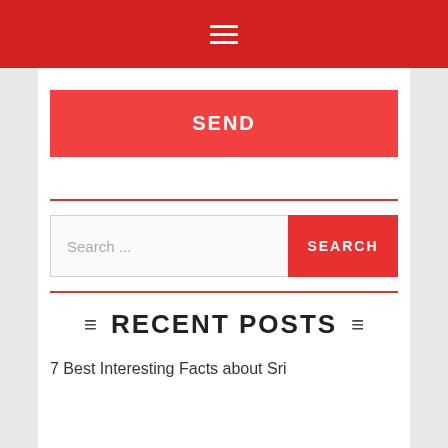☰
SEND
Search ...
SEARCH
RECENT POSTS
7 Best Interesting Facts about Sri